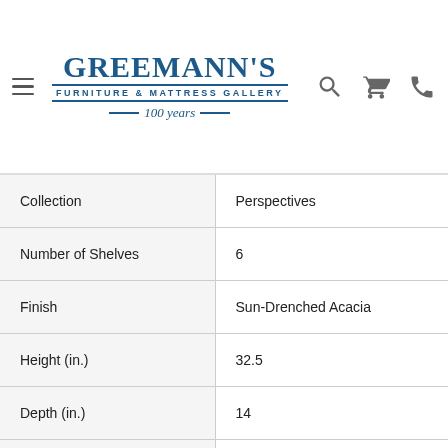Greemann's Furniture & Mattress Gallery — 100 years
|  |  |
| --- | --- |
| Collection | Perspectives |
| Number of Shelves | 6 |
| Finish | Sun-Drenched Acacia |
| Height (in.) | 32.5 |
| Depth (in.) | 14 |
| Width (in.) | 66 |
| Color | Brown |